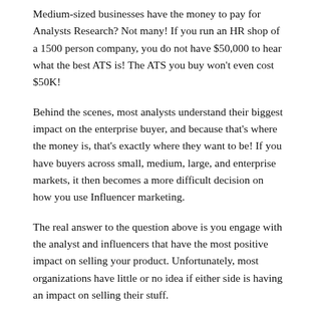Medium-sized businesses have the money to pay for Analysts Research? Not many! If you run an HR shop of a 1500 person company, you do not have $50,000 to hear what the best ATS is! The ATS you buy won't even cost $50K!
Behind the scenes, most analysts understand their biggest impact on the enterprise buyer, and because that's where the money is, that's exactly where they want to be! If you have buyers across small, medium, large, and enterprise markets, it then becomes a more difficult decision on how you use Influencer marketing.
The real answer to the question above is you engage with the analyst and influencers that have the most positive impact on selling your product. Unfortunately, most organizations have little or no idea if either side is having an impact on selling their stuff.
Who has the juice?